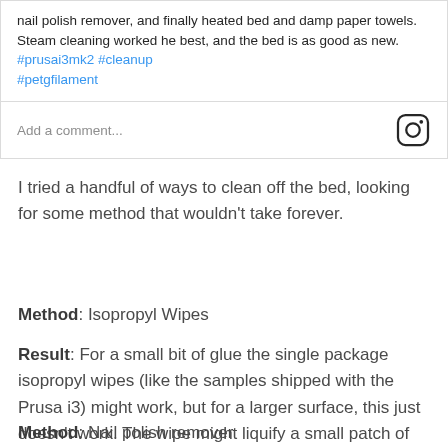nail polish remover, and finally heated bed and damp paper towels. Steam cleaning worked he best, and the bed is as good as new. #prusai3mk2 #cleanup #petgfilament
Add a comment...
I tried a handful of ways to clean off the bed, looking for some method that wouldn't take forever.
Method: Isopropyl Wipes
Result: For a small bit of glue the single package isopropyl wipes (like the samples shipped with the Prusa i3) might work, but for a larger surface, this just doesn't work. The wipe might liquify a small patch of glue, but then the wipe just disentigrates.
Method: Nail polish remover